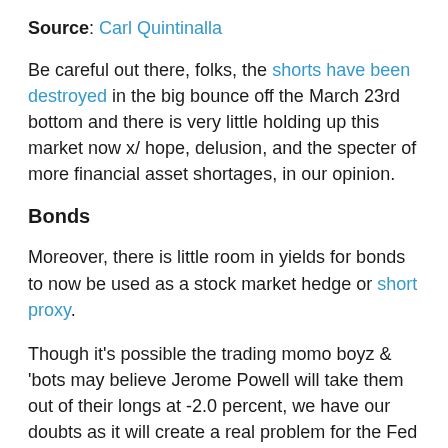Source: Carl Quintinalla
Be careful out there, folks, the shorts have been destroyed in the big bounce off the March 23rd bottom and there is very little holding up this market now x/ hope, delusion, and the specter of more financial asset shortages, in our opinion.
Bonds
Moreover, there is little room in yields for bonds to now be used as a stock market hedge or short proxy.
Though it's possible the trading momo boyz & 'bots may believe Jerome Powell will take them out of their longs at -2.0 percent, we have our doubts as it will create a real problem for the Fed and Treasury.